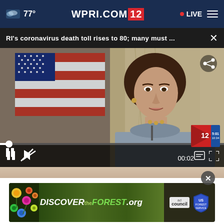77° WPRI.COM/2 • LIVE
RI's coronavirus death toll rises to 80; many must ...
[Figure (screenshot): Video player showing a woman speaking at what appears to be an official press conference, with an American flag in the background. Video controls show 00:02 timestamp, pause button, mute button, and fullscreen controls. A channel bug for WPRI 12 is visible.]
[Figure (photo): Advertisement banner for DiscovertheForest.org showing forest imagery with colorful flowers, Ad Council logo, and US Forest Service shield badge.]